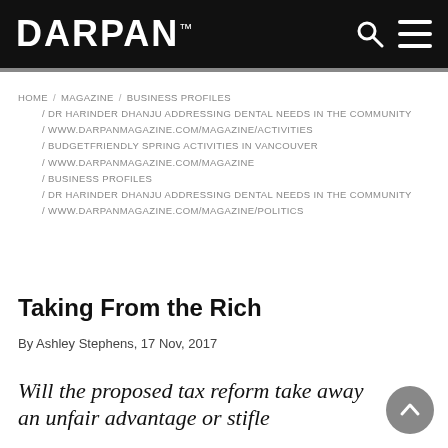DARPAN™
HOME / MAGAZINE / BUSINESS PROFILES / DR HARINDER DHANJU ADDRESSING DENTAL NEEDS IN THE COMMUNITY / WWW.DARPANMAGAZINE.COM / MAGAZINE / ACTIVITIES / BUDGETFRIENDLY SPRING ACTIVITIES IN VANCOUVER / WWW.DARPANMAGAZINE.COM / MAGAZINE / BUSINESS PROFILES / DR HARINDER DHANJU ADDRESSING DENTAL NEEDS IN THE COMMUNITY / WWW.DARPANMAGAZINE.COM / MAGAZINE / POLITICS
Taking From the Rich
By Ashley Stephens, 17 Nov, 2017
Will the proposed tax reform take away an unfair advantage or stifle